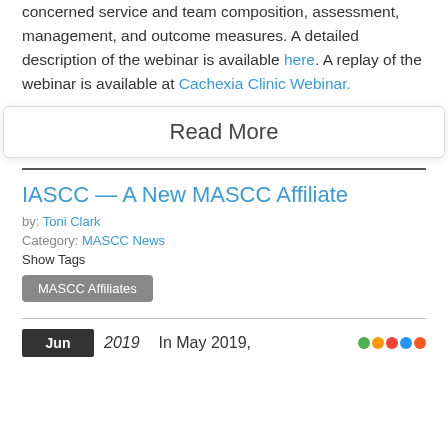concerned service and team composition, assessment, management, and outcome measures. A detailed description of the webinar is available here. A replay of the webinar is available at Cachexia Clinic Webinar.
Read More
IASCC — A New MASCC Affiliate
by: Toni Clark
Category: MASCC News
Show Tags
MASCC Affiliates
Jun 2019 In May 2019,